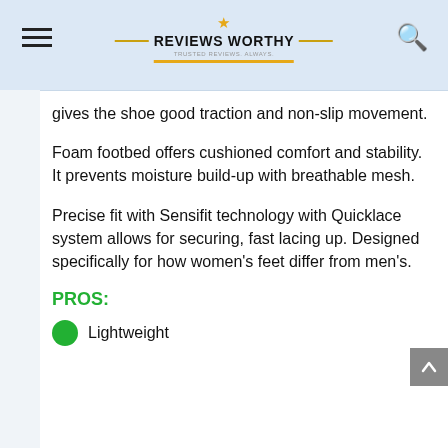REVIEWS WORTHY — TRUSTED REVIEWS. ALWAYS.
gives the shoe good traction and non-slip movement.
Foam footbed offers cushioned comfort and stability. It prevents moisture build-up with breathable mesh.
Precise fit with Sensifit technology with Quicklace system allows for securing, fast lacing up. Designed specifically for how women's feet differ from men's.
PROS:
Lightweight